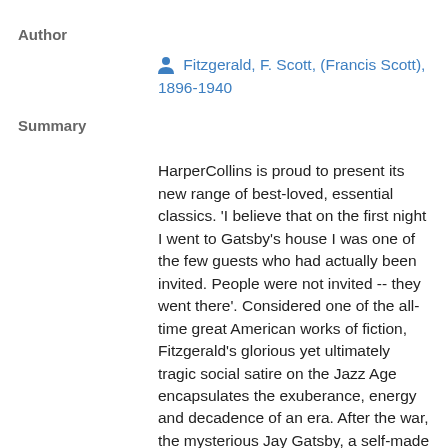Author
Fitzgerald, F. Scott, (Francis Scott), 1896-1940
Summary
HarperCollins is proud to present its new range of best-loved, essential classics. 'I believe that on the first night I went to Gatsby's house I was one of the few guests who had actually been invited. People were not invited -- they went there'. Considered one of the all-time great American works of fiction, Fitzgerald's glorious yet ultimately tragic social satire on the Jazz Age encapsulates the exuberance, energy and decadence of an era. After the war, the mysterious Jay Gatsby, a self-made millionaire pursues wealth, riches and the lady he lost to another man with stoic